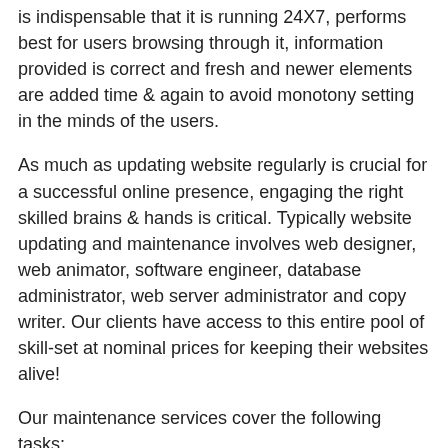is indispensable that it is running 24X7, performs best for users browsing through it, information provided is correct and fresh and newer elements are added time & again to avoid monotony setting in the minds of the users.
As much as updating website regularly is crucial for a successful online presence, engaging the right skilled brains & hands is critical. Typically website updating and maintenance involves web designer, web animator, software engineer, database administrator, web server administrator and copy writer. Our clients have access to this entire pool of skill-set at nominal prices for keeping their websites alive!
Our maintenance services cover the following tasks:
Content and Imagery Updates on Existing Web-pages
Addition of static pages